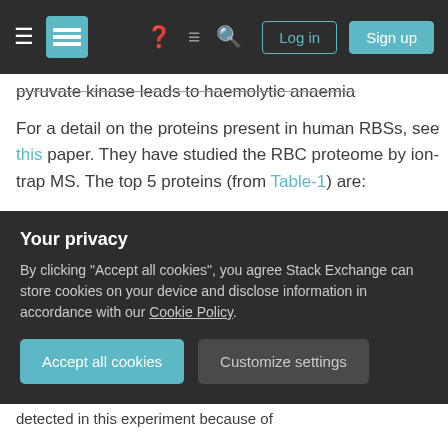Stack Exchange navigation bar with hamburger menu, logo, help, chat, search, Log in, Sign up
pyruvate kinase leads to haemolytic anaemia
For a detail on the proteins present in human RBSs, see this paper. They have studied the RBC proteome by ion-trap MS. The top 5 proteins (from Table-1) are:
| No. | Protein description | Mol |
| --- | --- | --- |
| 1 | Spectrin α chain, erythrocyte |  |
| 2 | Spectrin β chain, erythrocyte |  |
| 3 | Ankyrin 1, splice form 2 |  |
| 4 | Ankyrin 1, isoform 4, erythrocytic |  |
Your privacy
By clicking "Accept all cookies", you agree Stack Exchange can store cookies on your device and disclose information in accordance with our Cookie Policy.
Accept all cookies
Customize settings
detected in this experiment because of